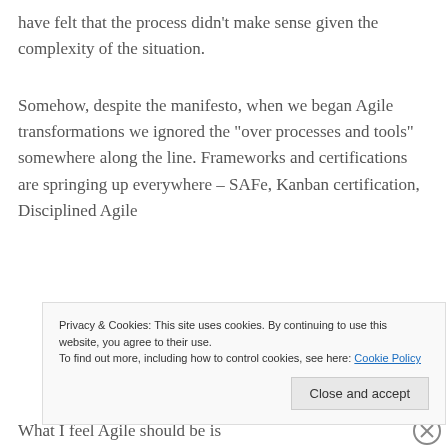have felt that the process didn't make sense given the complexity of the situation.
Somehow, despite the manifesto, when we began Agile transformations we ignored the “over processes and tools” somewhere along the line. Frameworks and certifications are springing up everywhere – SAFe, Kanban certification, Disciplined Agile
Privacy & Cookies: This site uses cookies. By continuing to use this website, you agree to their use.
To find out more, including how to control cookies, see here: Cookie Policy
What I feel Agile should be is